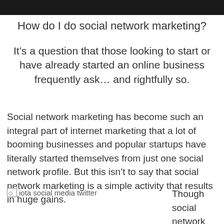[Figure (photo): Dark/black image banner at top of page]
How do I do social network marketing?
It’s a question that those looking to start or have already started an online business frequently ask… and rightfully so.
Social network marketing has become such an integral part of internet marketing that a lot of booming businesses and popular startups have literally started themselves from just one social network profile. But this isn’t to say that social network marketing is a simple activity that results in huge gains.
[Figure (photo): iota social media twitter image placeholder]
Though social network marketing